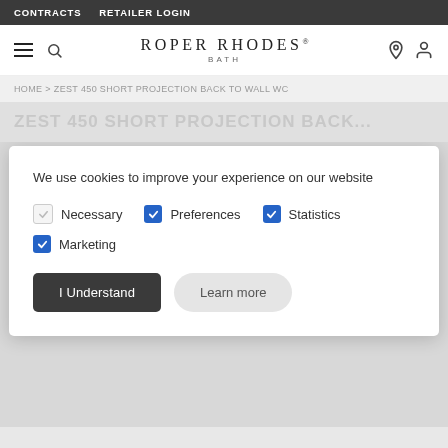CONTRACTS  RETAILER LOGIN
[Figure (screenshot): Roper Rhodes Bath website header with hamburger menu, search icon, brand logo centered, location pin and user account icons on right]
HOME > ZEST 450 SHORT PROJECTION BACK TO WALL WC
ZEST 450 SHORT PROJECTION BACK...
We use cookies to improve your experience on our website
Necessary (unchecked)
Preferences (checked)
Statistics (checked)
Marketing (checked)
I Understand
Learn more